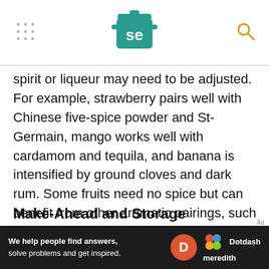Serious Eats logo and navigation
spirit or liqueur may need to be adjusted. For example, strawberry pairs well with Chinese five-spice powder and St-Germain, mango works well with cardamom and tequila, and banana is intensified by ground cloves and dark rum. Some fruits need no spice but can benefit from other aromatic pairings, such as amaretto with cherry or vanilla with tangerine. Let your own intuition and cravings be your guide, or consult a book like The Flavor Thesaurus for more ideas on flavor pairings.
Make-Ahead and Storage
With a layer of plastic wrap pressed directly against
[Figure (logo): Dotdash Meredith advertisement banner]